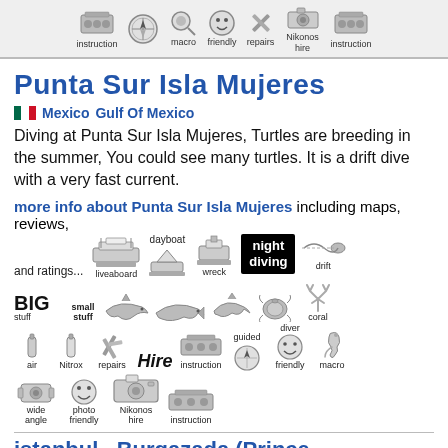instruction | compass | macro | friendly | repairs | Nikonos hire | instruction
Punta Sur Isla Mujeres
Mexico  Gulf Of Mexico
Diving at Punta Sur Isla Mujeres, Turtles are breeding in the summer, You could see many turtles. It is a drift dive with a very fast current.
more info about Punta Sur Isla Mujeres including maps, reviews, and ratings...
[Figure (infographic): Grid of diving-related icons: liveaboard, dayboat, wreck, night diving, drift, BIG stuff, small stuff, shark, whale, dolphin, turtle, coral, air, Nitrox, repairs, Hire, instruction, guided, diver friendly, macro, wide angle, photo friendly, Nikonos hire, instruction]
istanbul , Burgazada (Prince Islands)